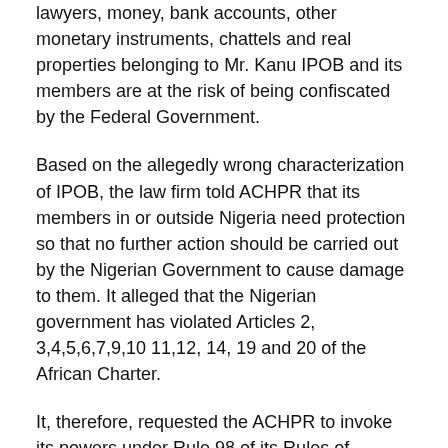lawyers, money, bank accounts, other monetary instruments, chattels and real properties belonging to Mr. Kanu IPOB and its members are at the risk of being confiscated by the Federal Government.
Based on the allegedly wrong characterization of IPOB, the law firm told ACHPR that its members in or outside Nigeria need protection so that no further action should be carried out by the Nigerian Government to cause damage to them. It alleged that the Nigerian government has violated Articles 2, 3,4,5,6,7,9,10 11,12, 14, 19 and 20 of the African Charter.
It, therefore, requested the ACHPR to invoke its powers under Rule 98 of its Rules of Procedure and urge the Federal Government not to take any further step against IPOB until the commission decides the case. In another request for a provisional measure, the law firm urged ACHPR to adopt other urgent measures necessary to case to protect Mr.